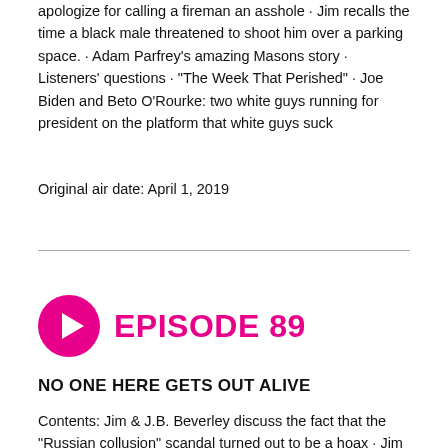apologize for calling a fireman an asshole · Jim recalls the time a black male threatened to shoot him over a parking space. · Adam Parfrey's amazing Masons story · Listeners' questions · "The Week That Perished" · Joe Biden and Beto O'Rourke: two white guys running for president on the platform that white guys suck
Original air date: April 1, 2019
EPISODE 89
NO ONE HERE GETS OUT ALIVE
Contents: Jim & J.B. Beverley discuss the fact that the "Russian collusion" scandal turned out to be a hoax · Jim discusses